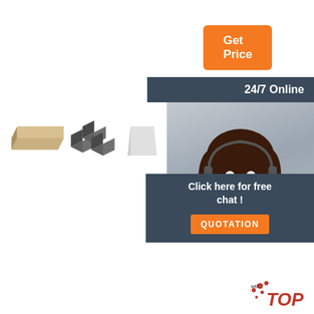[Figure (other): Orange 'Get Price' button in top right area]
[Figure (other): Dark banner reading '24/7 Online']
[Figure (photo): Customer service woman with headset smiling]
[Figure (photo): Three product images: tan brick, dark gray cubes, white trapezoid shape]
[Figure (other): Dark overlay with 'Click here for free chat!' text and orange QUOTATION button]
[Figure (logo): TOP logo with red dots and italic text in bottom right]
Output Styles
EndNote offers more than 5,000 bibliographic styles, which can be searched for style name, citation style or publisher.
Google
Search the world's information, including webpages, images, videos and more. Google has many special features to help you find exactly
Achie... Pape...
help s... impro... It is very easy. Click on the order now tab. You will be directed to another page. Here there is a